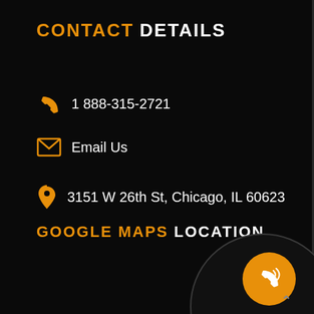CONTACT DETAILS
1 888-315-2721
Email Us
3151 W 26th St, Chicago, IL 60623
GOOGLE MAPS LOCATION
[Figure (illustration): Orange circular call button with phone/radio icon, inside a large dark circle outline, bottom-right area of page representing a Google Maps location widget]